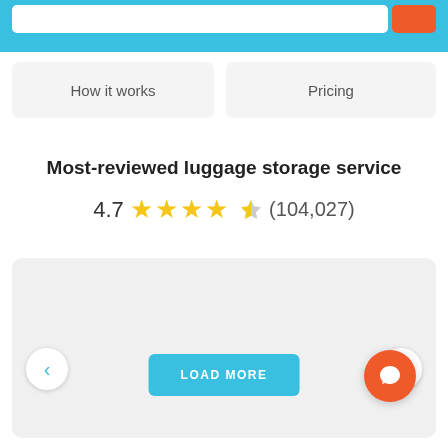[Figure (screenshot): Website header with sky-blue background, white search bar, and orange search button]
How it works
Pricing
Most-reviewed luggage storage service
4.7 ★★★★½ (104,027)
[Figure (screenshot): Review card carousel area with gray background, LOAD MORE button, left/right navigation arrows, and orange chat button]